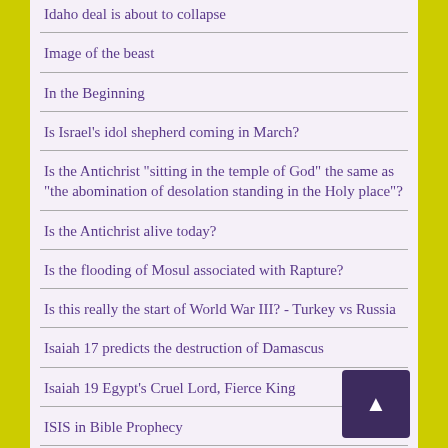Idaho deal is about to collapse
Image of the beast
In the Beginning
Is Israel's idol shepherd coming in March?
Is the Antichrist "sitting in the temple of God" the same as "the abomination of desolation standing in the Holy place"?
Is the Antichrist alive today?
Is the flooding of Mosul associated with Rapture?
Is this really the start of World War III? - Turkey vs Russia
Isaiah 17 predicts the destruction of Damascus
Isaiah 19 Egypt's Cruel Lord, Fierce King
ISIS in Bible Prophecy
ISIS just 10 miles from Nahum tomb!